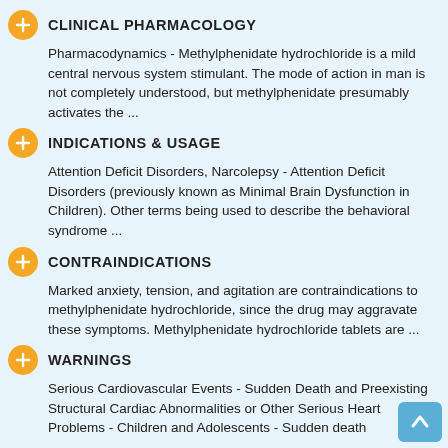CLINICAL PHARMACOLOGY
Pharmacodynamics - Methylphenidate hydrochloride is a mild central nervous system stimulant. The mode of action in man is not completely understood, but methylphenidate presumably activates the ...
INDICATIONS & USAGE
Attention Deficit Disorders, Narcolepsy - Attention Deficit Disorders (previously known as Minimal Brain Dysfunction in Children). Other terms being used to describe the behavioral syndrome ...
CONTRAINDICATIONS
Marked anxiety, tension, and agitation are contraindications to methylphenidate hydrochloride, since the drug may aggravate these symptoms. Methylphenidate hydrochloride tablets are ...
WARNINGS
Serious Cardiovascular Events - Sudden Death and Preexisting Structural Cardiac Abnormalities or Other Serious Heart Problems - Children and Adolescents - Sudden death...